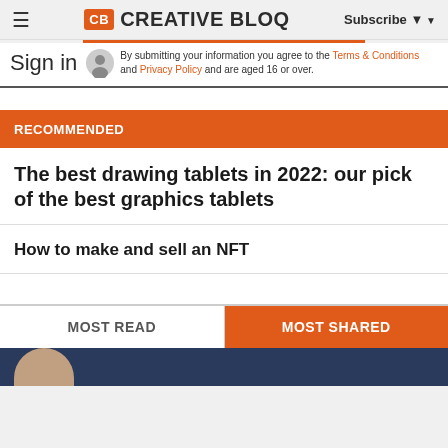Creative Bloq | Subscribe
By submitting your information you agree to the Terms & Conditions and Privacy Policy and are aged 16 or over.
RECOMMENDED
The best drawing tablets in 2022: our pick of the best graphics tablets
How to make and sell an NFT
MOST READ | MOST SHARED